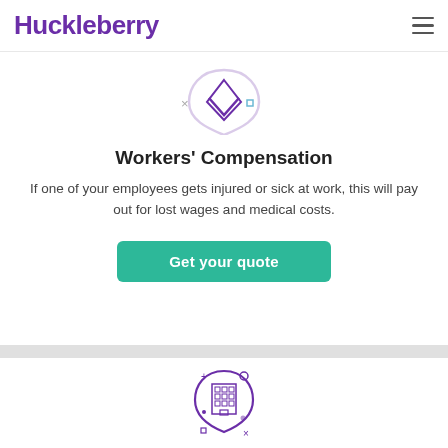Huckleberry
[Figure (illustration): Workers compensation shield/umbrella icon with decorative plus and square symbols in purple]
Workers' Compensation
If one of your employees gets injured or sick at work, this will pay out for lost wages and medical costs.
Get your quote
[Figure (illustration): Business owner's policy shield with building icon and decorative plus, circle, dot symbols in purple]
Business Owner's Policy
A bundle of coverages that includes general liability,